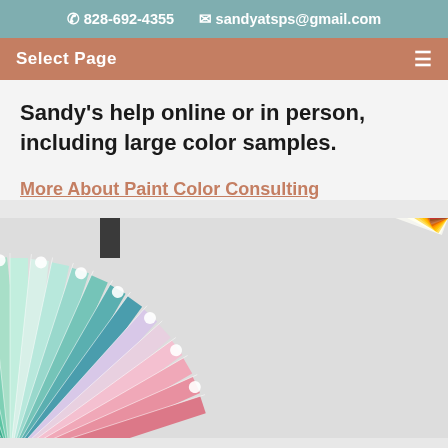828-692-4355   sandyatsps@gmail.com
Select Page
Sandy's help online or in person, including large color samples.
More About Paint Color Consulting
[Figure (photo): Fan of paint color sample swatches spread out showing a rainbow of colors from teal/green on the left through pink, red, orange, yellow, and blue on the right.]